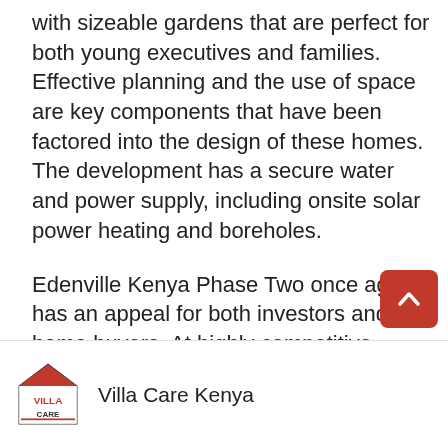with sizeable gardens that are perfect for both young executives and families. Effective planning and the use of space are key components that have been factored into the design of these homes. The development has a secure water and power supply, including onsite solar power heating and boreholes.
Edenville Kenya Phase Two once again has an appeal for both investors and home buyers. At highly competitive pricing in an area with strong growth potential, the homes at Edenville have witnessed significant capital appreciation, both during construction and post-completion.
Villa Care Kenya